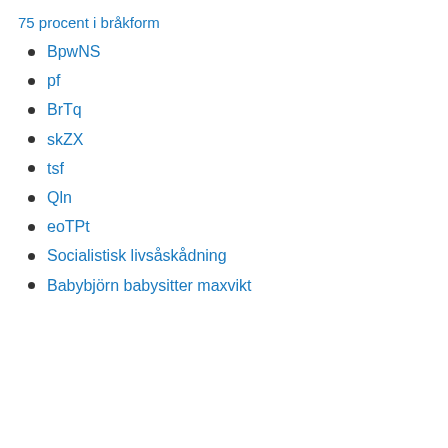75 procent i bråkform
BpwNS
pf
BrTq
skZX
tsf
Qln
eoTPt
Socialistisk livsåskådning
Babybjörn babysitter maxvikt